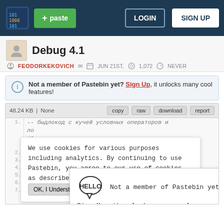Pastebin navigation bar with logo, + paste button, LOGIN and SIGN UP buttons
Debug 4.1
FEODORKEKOVICH  JUN 21ST,  1,072  NEVER
Not a member of Pastebin yet? Sign Up, it unlocks many cool features!
48.24 KB | None  copy  raw  download  report
Code lines 1-7 with Russian comment and Lua code
We use cookies for various purposes including analytics. By continuing to use Pastebin, you agree to our use of cookies as described in the Cookies Policy.  OK, I Understand
Not a member of Pastebin yet? Sign Up, it unlocks many cool features!